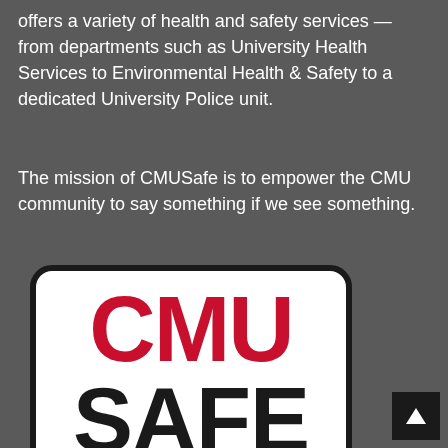offers a variety of health and safety services — from departments such as University Health Services to Environmental Health & Safety to a dedicated University Police unit.
The mission of CMUSafe is to empower the CMU community to say something if we see something.
[Figure (logo): CMUSafe logo: white rounded rectangle with black border, 'CMU' in large red bold text above 'SAFE' in large black bold text]